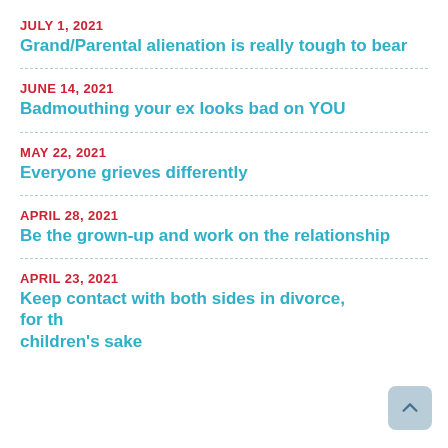JULY 1, 2021
Grand/Parental alienation is really tough to bear
JUNE 14, 2021
Badmouthing your ex looks bad on YOU
MAY 22, 2021
Everyone grieves differently
APRIL 28, 2021
Be the grown-up and work on the relationship
APRIL 23, 2021
Keep contact with both sides in divorce, for the children's sake